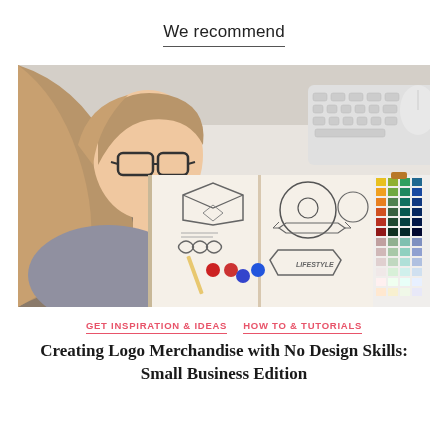We recommend
[Figure (photo): A woman with glasses looking down at a sketchbook filled with logo design sketches, color swatches on the right, and a keyboard visible in the background on a desk.]
GET INSPIRATION & IDEAS   HOW TO & TUTORIALS
Creating Logo Merchandise with No Design Skills: Small Business Edition